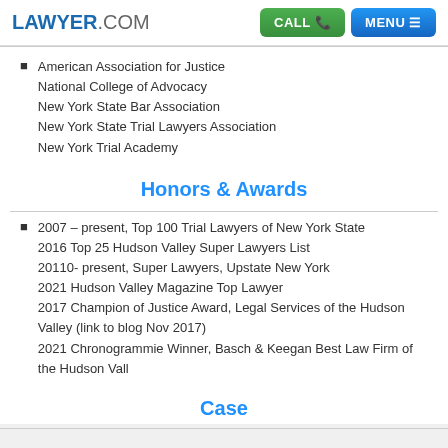LAWYER.COM | CALL | MENU
American Association for Justice
National College of Advocacy
New York State Bar Association
New York State Trial Lawyers Association
New York Trial Academy
Honors & Awards
2007 – present, Top 100 Trial Lawyers of New York State
2016 Top 25 Hudson Valley Super Lawyers List
20110- present, Super Lawyers, Upstate New York
2021 Hudson Valley Magazine Top Lawyer
2017 Champion of Justice Award, Legal Services of the Hudson Valley (link to blog Nov 2017)
2021 Chronogrammie Winner, Basch & Keegan Best Law Firm of the Hudson Vall
Case